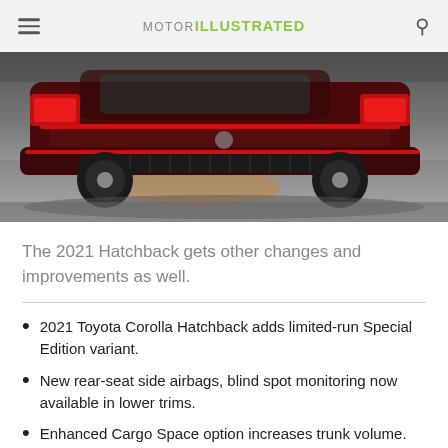MOTOR ILLUSTRATED
[Figure (photo): Rear/side view of a dark red Toyota Corolla Hatchback on a grey studio floor]
The 2021 Hatchback gets other changes and improvements as well.
2021 Toyota Corolla Hatchback adds limited-run Special Edition variant.
New rear-seat side airbags, blind spot monitoring now available in lower trims.
Enhanced Cargo Space option increases trunk volume.